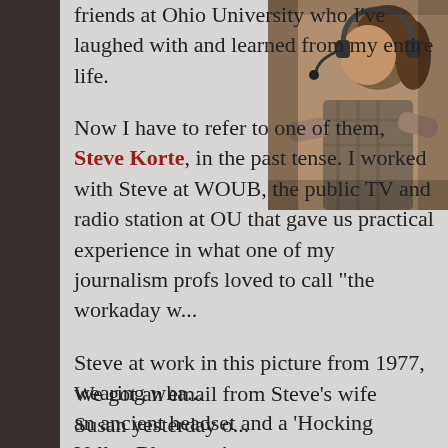friends at Ohio University who I've laughed with and learned from my entire life.
[Figure (photo): Vintage sepia-toned photo from 1977 showing Steve Korte at work wearing a headset at WOUB radio/TV station.]
Now I have to refer to one of them, Steve Korte, in the past tense. I worked with Steve at WOUB, the public TV and radio station at OU that gave us practical experience in what one of my journalism profs loved to call "the workaday w... Steve at work in this picture from 1977, wearing wha... an ancient headset and a 'Hocking Valley Bluegrass'... directing a crew of four through an evening's progra...
We got an email from Steve's wife Susan yesterday o...